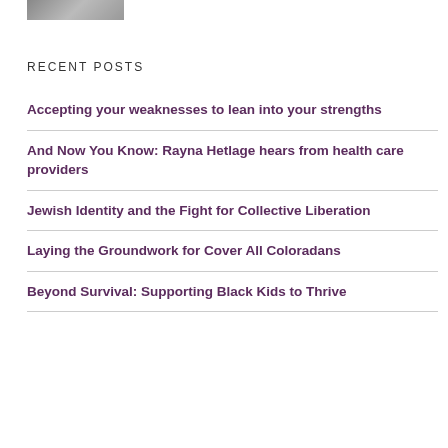[Figure (photo): Partial photo of a person, cropped at top of page]
RECENT POSTS
Accepting your weaknesses to lean into your strengths
And Now You Know: Rayna Hetlage hears from health care providers
Jewish Identity and the Fight for Collective Liberation
Laying the Groundwork for Cover All Coloradans
Beyond Survival: Supporting Black Kids to Thrive